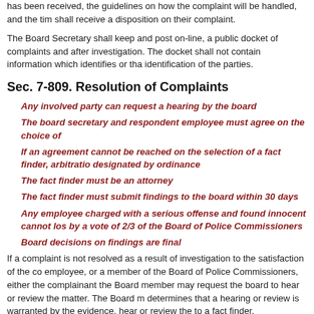has been received, the guidelines on how the complaint will be handled, and the time they shall receive a disposition on their complaint.
The Board Secretary shall keep and post on-line, a public docket of complaints and after investigation. The docket shall not contain information which identifies or that identification of the parties.
Sec. 7-809. Resolution of Complaints
Any involved party can request a hearing by the board
The board secretary and respondent employee must agree on the choice of
If an agreement cannot be reached on the selection of a fact finder, arbitration designated by ordinance
The fact finder must be an attorney
The fact finder must submit findings to the board within 30 days
Any employee charged with a serious offense and found innocent cannot lose by a vote of 2/3 of the Board of Police Commissioners
Board decisions on findings are final
If a complaint is not resolved as a result of investigation to the satisfaction of the co employee, or a member of the Board of Police Commissioners, either the complainant the Board member may request the board to hear or review the matter. The Board me determines that a hearing or review is warranted by the evidence, hear or review the to a fact finder.
When a matter is referred to fact finding, the secretary to the board and the respond agree upon a person to act as a fact finder. The fact finder must be an attorney. If the finder, they shall request a recognized arbitration association as designated by ordinance.